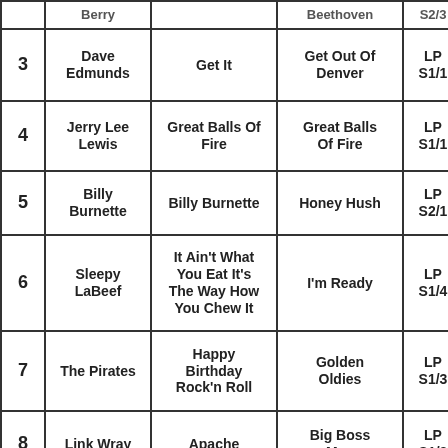| # | Artist | Song | Album | LP | Time |
| --- | --- | --- | --- | --- | --- |
|  | Berry |  | Beethoven | S2/3 |  |
| 3 | Dave Edmunds | Get It | Get Out Of Denver | LP S1/1 | 2-3 min |
| 4 | Jerry Lee Lewis | Great Balls Of Fire | Great Balls Of Fire | LP S1/1 | 2:32 |
| 5 | Billy Burnette | Billy Burnette | Honey Hush | LP S2/1 | 2:26 |
| 6 | Sleepy LaBeef | It Ain't What You Eat It's The Way How You Chew It | I'm Ready | LP S1/4 | 2:30 |
| 7 | The Pirates | Happy Birthday Rock'n Roll | Golden Oldies | LP S1/3 | 2-3 min |
| 8 | Link Wray | Apache | Big Boss Man | LP S1/3 | 2-3 min |
| 9 | Steve Gibbons Band | Street Parade | Saturday Night | LP S2/5 | 3:05 |
| 10 | Neil Young | Everybody's | Everybody's | LP | 1:55 |